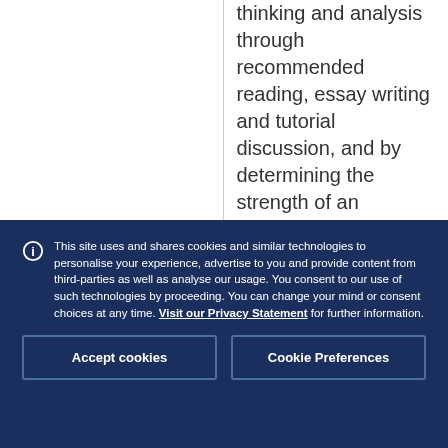thinking and analysis through recommended reading, essay writing and tutorial discussion, and by determining the strength of an argument.
This site uses and shares cookies and similar technologies to personalise your experience, advertise to you and provide content from third-parties as well as analyse our usage. You consent to our use of such technologies by proceeding. You can change your mind or consent choices at any time. Visit our Privacy Statement for further information.